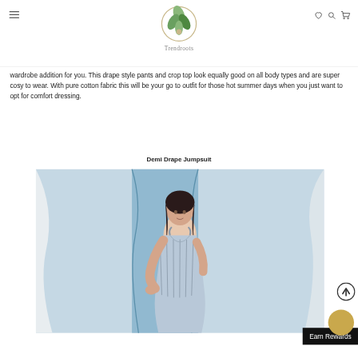Trendroots
wardrobe addition for you. This drape style pants and crop top look equally good on all body types and are super cosy to wear. With pure cotton fabric this will be your go to outfit for those hot summer days when you just want to opt for comfort dressing.
Demi Drape Jumpsuit
[Figure (photo): Model wearing a blue and white striped drape jumpsuit, standing against a light draped fabric background.]